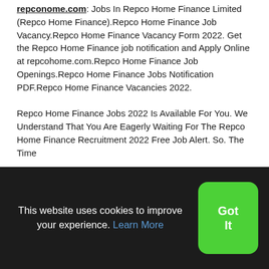repconome.com: Jobs In Repco Home Finance Limited (Repco Home Finance).Repco Home Finance Job Vacancy.Repco Home Finance Vacancy Form 2022. Get the Repco Home Finance job notification and Apply Online at repcohome.com.Repco Home Finance Job Openings.Repco Home Finance Jobs Notification PDF.Repco Home Finance Vacancies 2022.
Repco Home Finance Jobs 2022 Is Available For You. We Understand That You Are Eagerly Waiting For The Repco Home Finance Recruitment 2022 Free Job Alert. So. The Time
This website uses cookies to improve your experience. Learn More
Got It